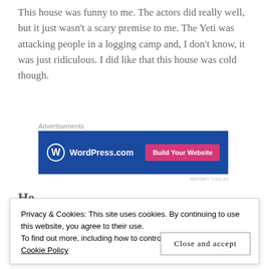This house was funny to me. The actors did really well, but it just wasn't a scary premise to me. The Yeti was attacking people in a logging camp and, I don't know, it was just ridiculous. I did like that this house was cold though.
Advertisements
[Figure (other): WordPress.com advertisement banner with logo and 'Build Your Website' button on a blue background]
REPORT THIS AD
He
Privacy & Cookies: This site uses cookies. By continuing to use this website, you agree to their use.
To find out more, including how to control cookies, see here: Cookie Policy
Close and accept